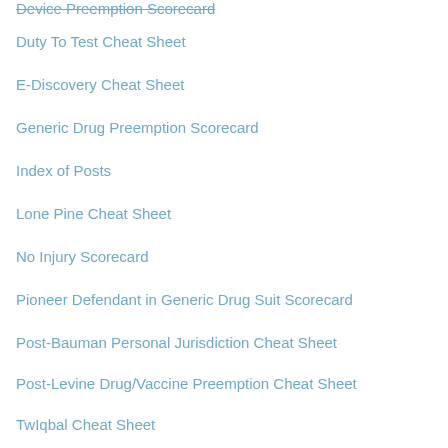Device Preemption Scorecard
Duty To Test Cheat Sheet
E-Discovery Cheat Sheet
Generic Drug Preemption Scorecard
Index of Posts
Lone Pine Cheat Sheet
No Injury Scorecard
Pioneer Defendant in Generic Drug Suit Scorecard
Post-Bauman Personal Jurisdiction Cheat Sheet
Post-Levine Drug/Vaccine Preemption Cheat Sheet
TwIqbal Cheat Sheet